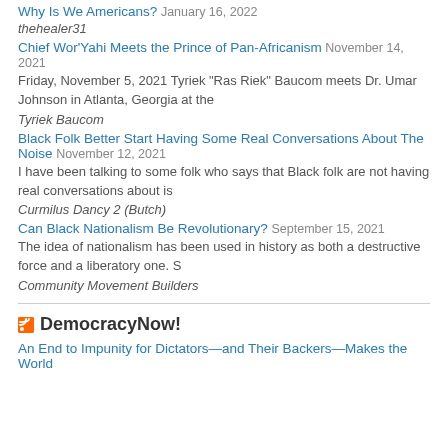Why Is We Americans? January 16, 2022
thehealer31
Chief Wor'Yahi Meets the Prince of Pan-Africanism November 14, 2021
Friday, November 5, 2021 Tyriek “Ras Riek” Baucom meets Dr. Umar Johnson in Atlanta, Georgia at the
Tyriek Baucom
Black Folk Better Start Having Some Real Conversations About The Noise November 12, 2021
I have been talking to some folk who says that Black folk are not having real conversations about is
Curmilus Dancy 2 (Butch)
Can Black Nationalism Be Revolutionary? September 15, 2021
The idea of nationalism has been used in history as both a destructive force and a liberatory one. S
Community Movement Builders
DemocracyNow!
An End to Impunity for Dictators—and Their Backers—Makes the World